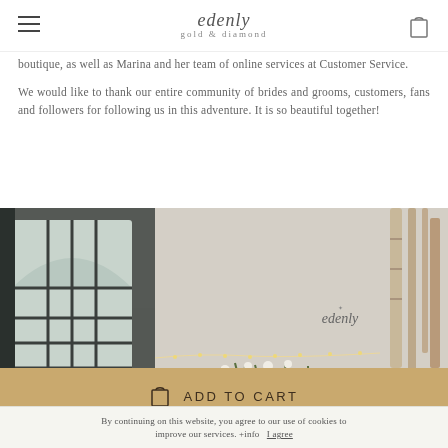edenly gold & diamond
boutique, as well as Marina and her team of online services at Customer Service.
We would like to thank our entire community of brides and grooms, customers, fans and followers for following us in this adventure. It is so beautiful together!
[Figure (photo): Interior of the Edenly boutique showing an arched metal frame window display, green grass-like plants, white flowers, birch tree branches, the Edenly logo on the wall, and framed displays mounted on a pale blue-grey wall.]
ADD TO CART
By continuing on this website, you agree to our use of cookies to improve our services. +info   I agree